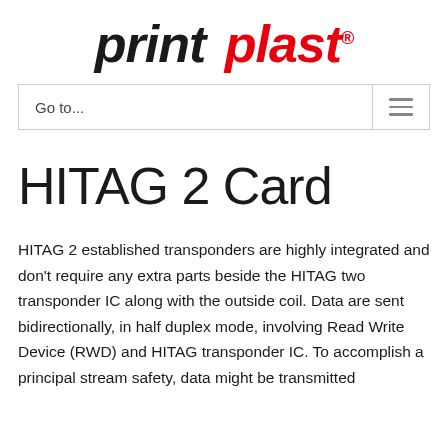[Figure (logo): print plast logo in italic bold font, 'print' in black, 'plast' in red, with registered trademark symbol]
Go to...
HITAG 2 Card
HITAG 2 established transponders are highly integrated and don't require any extra parts beside the HITAG two transponder IC along with the outside coil. Data are sent bidirectionally, in half duplex mode, involving Read Write Device (RWD) and HITAG transponder IC. To accomplish a principal stream safety, data might be transmitted